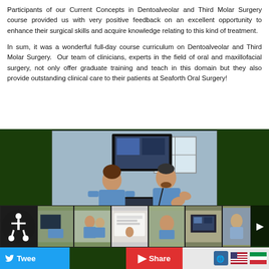Participants of our Current Concepts in Dentoalveolar and Third Molar Surgery course provided us with very positive feedback on an excellent opportunity to enhance their surgical skills and acquire knowledge relating to this kind of treatment.
In sum, it was a wonderful full-day course curriculum on Dentoalveolar and Third Molar Surgery. Our team of clinicians, experts in the field of oral and maxillofacial surgery, not only offer graduate training and teach in this domain but they also provide outstanding clinical care to their patients at Seaforth Oral Surgery!
[Figure (photo): Large photo of two medical professionals in blue scrubs in a clinical classroom setting, with a monitor/computer in front of them and a display screen behind them. Below the main photo is a row of smaller thumbnail images showing similar clinical training scenes. A dark green border frames the photo area. An accessibility (wheelchair) icon button is overlaid on the bottom left. Navigation arrow on bottom right.]